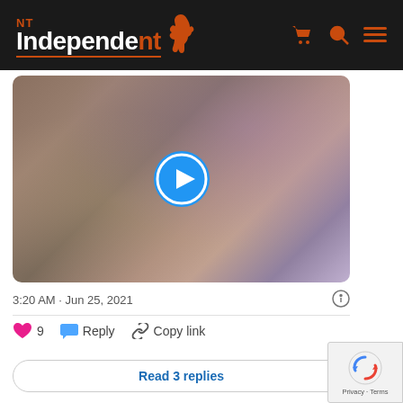NT Independent
[Figure (screenshot): Video thumbnail showing a blurred outdoor scene with a play button overlay. The background has warm brown and purple tones. A large blue circular play button is centered on the video.]
3:20 AM · Jun 25, 2021
♥ 9  Reply  Copy link
Read 3 replies